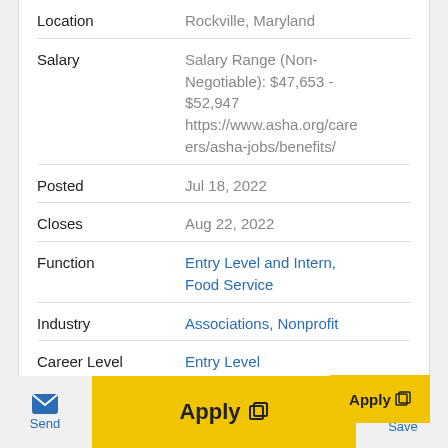| Field | Value |
| --- | --- |
| Location | Rockville, Maryland |
| Salary | Salary Range (Non-Negotiable): $47,653 - $52,947
https://www.asha.org/careers/asha-jobs/benefits/ |
| Posted | Jul 18, 2022 |
| Closes | Aug 22, 2022 |
| Function | Entry Level and Intern, Food Service |
| Industry | Associations, Nonprofit |
| Career Level | Entry Level |
| Hours | Full Time |
Apply
Send
Save